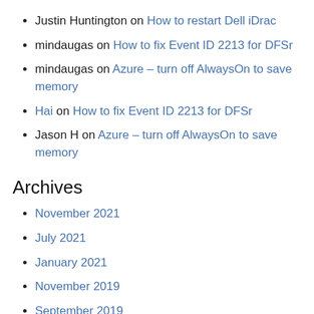Justin Huntington on How to restart Dell iDrac
mindaugas on How to fix Event ID 2213 for DFSr
mindaugas on Azure – turn off AlwaysOn to save memory
Hai on How to fix Event ID 2213 for DFSr
Jason H on Azure – turn off AlwaysOn to save memory
Archives
November 2021
July 2021
January 2021
November 2019
September 2019
August 2019
January 2019
December 2018